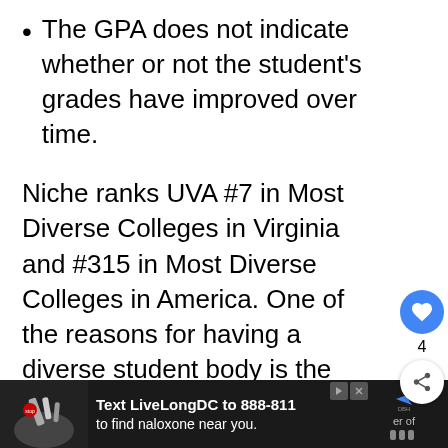The GPA does not indicate whether or not the student's grades have improved over time.
Niche ranks UVA #7 in Most Diverse Colleges in Virginia and #315 in Most Diverse Colleges in America. One of the reasons for having a diverse student body is the fact that the school does not establish a minimum GPA.
If it did, according to its admissions office,
[Figure (screenshot): Advertisement banner: Text LiveLongDC to 888-811 to find naloxone near you. DC Department of Health ad, with photo of medical items on the left.]